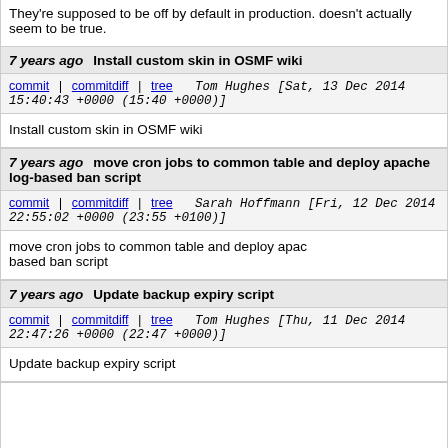They're supposed to be off by default in production. doesn't actually seem to be true.
7 years ago   Install custom skin in OSMF wiki
commit | commitdiff | tree   Tom Hughes [Sat, 13 Dec 2014 15:40:43 +0000 (15:40 +0000)]
Install custom skin in OSMF wiki
7 years ago   move cron jobs to common table and deploy apache log-based ban script
commit | commitdiff | tree   Sarah Hoffmann [Fri, 12 Dec 2014 22:55:02 +0000 (23:55 +0100)]
move cron jobs to common table and deploy apache log-based ban script
7 years ago   Update backup expiry script
commit | commitdiff | tree   Tom Hughes [Thu, 11 Dec 2014 22:47:26 +0000 (22:47 +0000)]
Update backup expiry script